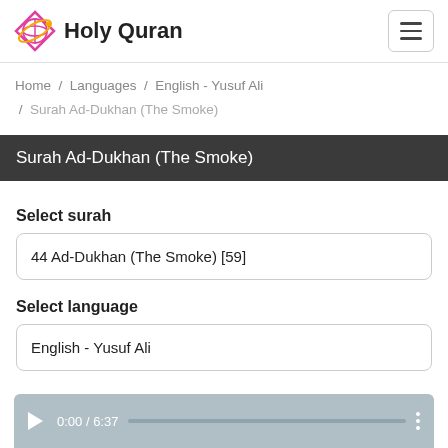Holy Quran
Home / Languages / English - Yusuf Ali / Surah Ad-Dukhan (The Smoke)
Surah Ad-Dukhan (The Smoke)
Select surah
44 Ad-Dukhan (The Smoke) [59]
Select language
English - Yusuf Ali
0:00 / 6:37